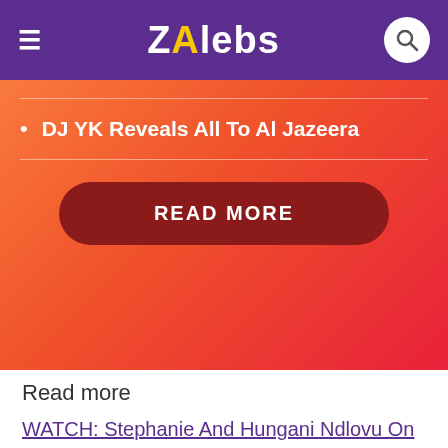ZAlebs
DJ YK Reveals All To Al Jazeera
READ MORE
Read more
WATCH: Stephanie And Hungani Ndlovu On The Birth Of Their Child
Cassper Nyovest Takes A Big Swing At Big Zulu
Trevor Noah Remembers Late Granny